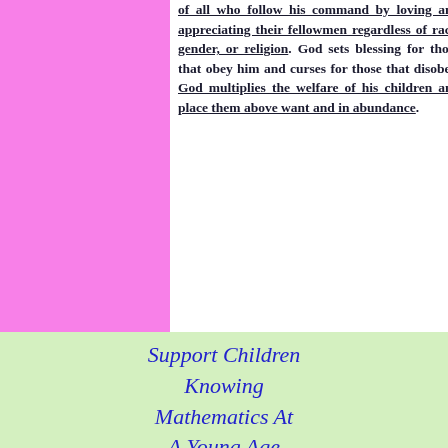of all who follow his command by loving and appreciating their fellowmen regardless of race, gender, or religion. God sets blessing for those that obey him and curses for those that disobey. God multiplies the welfare of his children and place them above want and in abundance.
Support Children Knowing Mathematics At A Young Age